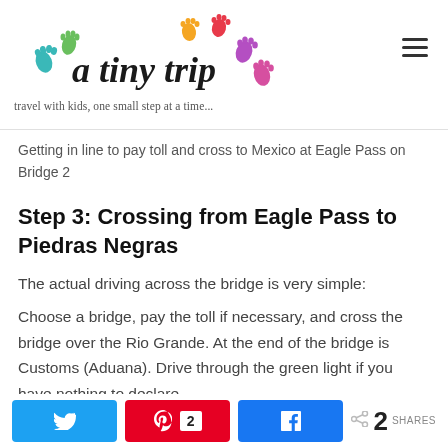a tiny trip — travel with kids, one small step at a time...
Getting in line to pay toll and cross to Mexico at Eagle Pass on Bridge 2
Step 3: Crossing from Eagle Pass to Piedras Negras
The actual driving across the bridge is very simple:
Choose a bridge, pay the toll if necessary, and cross the bridge over the Rio Grande. At the end of the bridge is Customs (Aduana). Drive through the green light if you have nothing to declare.